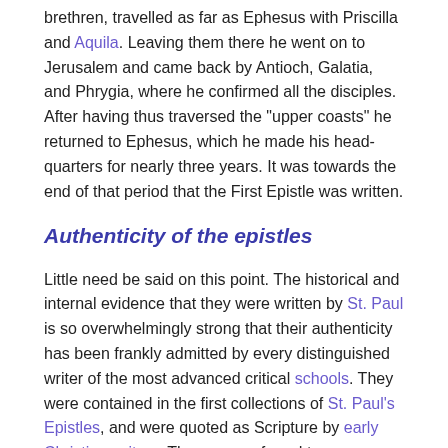brethren, travelled as far as Ephesus with Priscilla and Aquila. Leaving them there he went on to Jerusalem and came back by Antioch, Galatia, and Phrygia, where he confirmed all the disciples. After having thus traversed the "upper coasts" he returned to Ephesus, which he made his head-quarters for nearly three years. It was towards the end of that period that the First Epistle was written.
Authenticity of the epistles
Little need be said on this point. The historical and internal evidence that they were written by St. Paul is so overwhelmingly strong that their authenticity has been frankly admitted by every distinguished writer of the most advanced critical schools. They were contained in the first collections of St. Paul's Epistles, and were quoted as Scripture by early Christian writers. They were referred to as authorities by the early heretics and translated into many languages in the middle of the second century. The unique